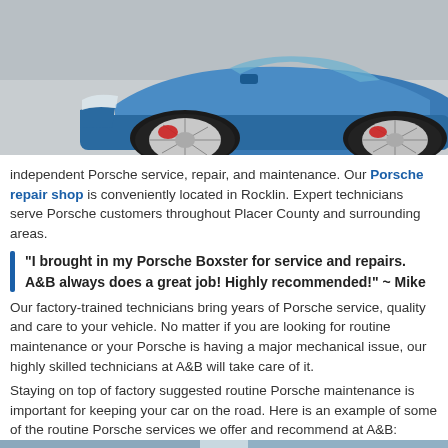[Figure (photo): Close-up photo of a blue Porsche sports car showing the front wheel, brake caliper, and front bumper area, parked in front of a grey building.]
independent Porsche service, repair, and maintenance. Our Porsche repair shop is conveniently located in Rocklin. Expert technicians serve Porsche customers throughout Placer County and surrounding areas.
“I brought in my Porsche Boxster for service and repairs. A&B always does a great job! Highly recommended!” ~ Mike
Our factory-trained technicians bring years of Porsche service, quality and care to your vehicle. No matter if you are looking for routine maintenance or your Porsche is having a major mechanical issue, our highly skilled technicians at A&B will take care of it.
Staying on top of factory suggested routine Porsche maintenance is important for keeping your car on the road. Here is an example of some of the routine Porsche services we offer and recommend at A&B:
[Figure (photo): Partial photo of another vehicle or car detail, partially visible at the bottom of the page.]